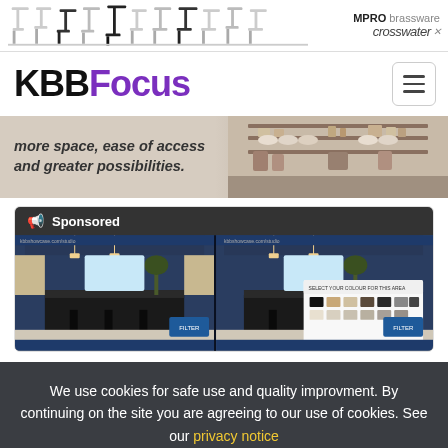[Figure (photo): Top advertisement banner showing multiple faucet/tap designs with MPRO brassware and Crosswater logo on the right]
[Figure (logo): KBBFocus logo with KBB in black bold and Focus in purple bold, with hamburger menu button on right]
[Figure (photo): Hero banner with italic text 'more space, ease of access and greater possibilities.' on beige background with kitchen shelving photo on right]
[Figure (screenshot): Sponsored content card showing a kitchen visualizer tool interface with color selection panel]
We use cookies for safe use and quality improvment. By continuing on the site you are agreeing to our use of cookies. See our privacy notice
Agree